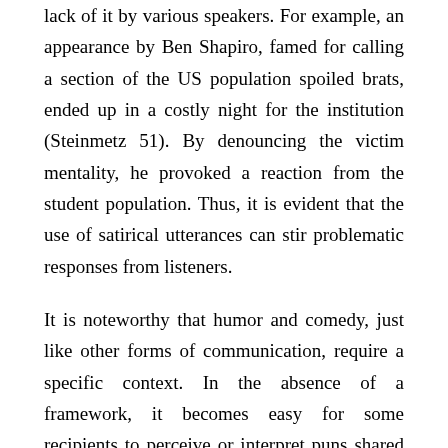lack of it by various speakers. For example, an appearance by Ben Shapiro, famed for calling a section of the US population spoiled brats, ended up in a costly night for the institution (Steinmetz 51). By denouncing the victim mentality, he provoked a reaction from the student population. Thus, it is evident that the use of satirical utterances can stir problematic responses from listeners.
It is noteworthy that humor and comedy, just like other forms of communication, require a specific context. In the absence of a framework, it becomes easy for some recipients to perceive or interpret puns shared by a speaker wrongly. Primarily, all the details of human life, at any given time in history, affects the way people form, receive, or respond to humor. For instance, members of a community that has endured social injustices for a